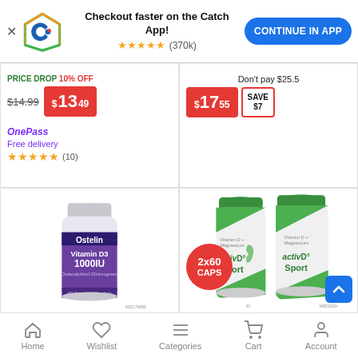[Figure (screenshot): Catch app promotional banner with logo, star rating (370k reviews), and 'CONTINUE IN APP' button]
PRICE DROP 10% OFF
$14.99  $13.49
OnePass Free delivery ★★★★★ (10)
Don't pay $25.5  $17.55 SAVE $7
[Figure (photo): Ostelin Vitamin D3 1000IU supplement bottle, 60 capsules]
[Figure (photo): Two bottles of activD Sport Vitamin D + Magnesium capsules, 2x60 CAPS promotion]
Home  Wishlist  Categories  Cart  Account